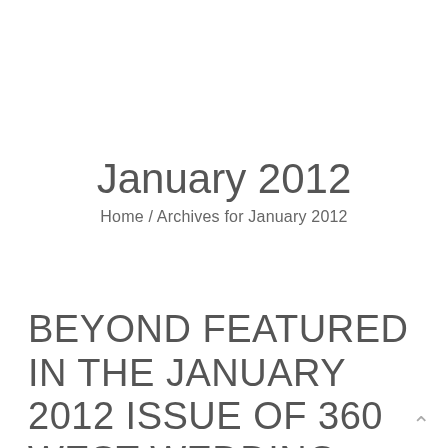January 2012
Home / Archives for January 2012
BEYOND FEATURED IN THE JANUARY 2012 ISSUE OF 360 WEST WEDDING